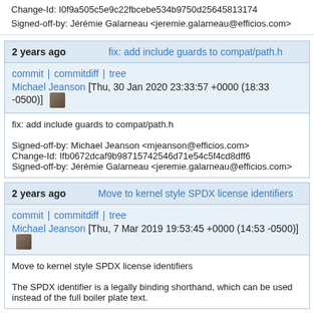Change-Id: I0f9a505c5e9c22fbcebe534b9750d25645813174
Signed-off-by: Jérémie Galarneau <jeremie.galarneau@efficios.com>
2 years ago   fix: add include guards to compat/path.h
commit | commitdiff | tree
Michael Jeanson [Thu, 30 Jan 2020 23:33:57 +0000 (18:33 -0500)]
fix: add include guards to compat/path.h

Signed-off-by: Michael Jeanson <mjeanson@efficios.com>
Change-Id: Ifb0672dcaf9b98715742546d71e54c5f4cd8dff6
Signed-off-by: Jérémie Galarneau <jeremie.galarneau@efficios.com>
2 years ago   Move to kernel style SPDX license identifiers
commit | commitdiff | tree
Michael Jeanson [Thu, 7 Mar 2019 19:53:45 +0000 (14:53 -0500)]
Move to kernel style SPDX license identifiers

The SPDX identifier is a legally binding shorthand, which can be used instead of the full boiler plate text.